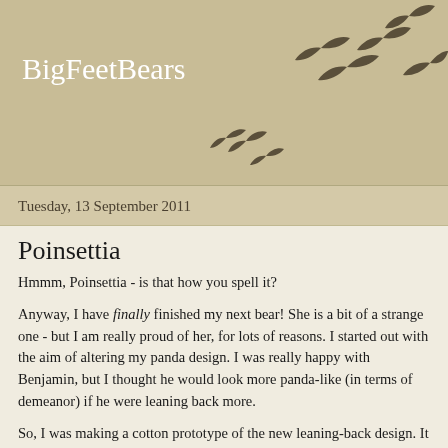BigFeetBears
[Figure (illustration): Silhouettes of birds in flight scattered across the header area]
Tuesday, 13 September 2011
Poinsettia
Hmmm, Poinsettia - is that how you spell it?
Anyway, I have finally finished my next bear!  She is a bit of a strange one - but I am really proud of her, for lots of reasons.  I started out with the aim of altering my panda design.  I was really happy with Benjamin, but I thought he would look more panda-like (in terms of demeanor) if he were leaning back more.
So, I was making a cotton prototype of the new leaning-back design.  It took absolutely ages to get right, because of the weighting.  The head is the heaviest part, and usually I would put bags of steel shot in the feet to counter-balance